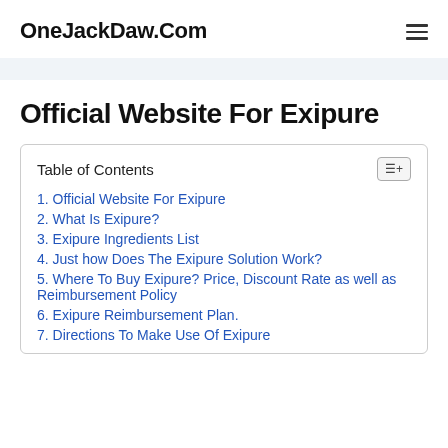OneJackDaw.Com
Official Website For Exipure
| Table of Contents |
| --- |
| 1. Official Website For Exipure |
| 2. What Is Exipure? |
| 3. Exipure Ingredients List |
| 4. Just how Does The Exipure Solution Work? |
| 5. Where To Buy Exipure? Price, Discount Rate as well as Reimbursement Policy |
| 6. Exipure Reimbursement Plan. |
| 7. Directions To Make Use Of Exipure |